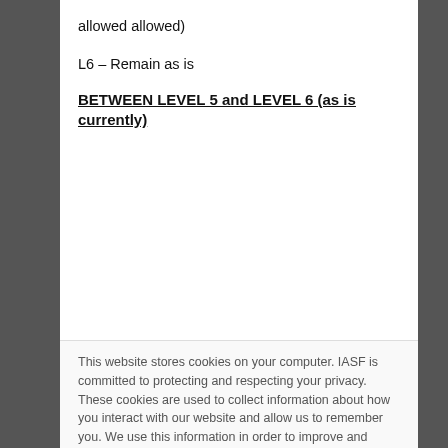allowed allowed)
L6 – Remain as is
BETWEEN LEVEL 5 and LEVEL 6 (as is currently)
This website stores cookies on your computer. IASF is committed to protecting and respecting your privacy. These cookies are used to collect information about how you interact with our website and allow us to remember you. We use this information in order to improve and customize your browsing experience and for analytics and metrics about our visitors both on this website and other media. To find out more about the cookies we use, see our Privacy Policy.
If you decline, your information won't be tracked when you visit this website. A single cookie will be used in your browser to remember your preference not to be tracked.